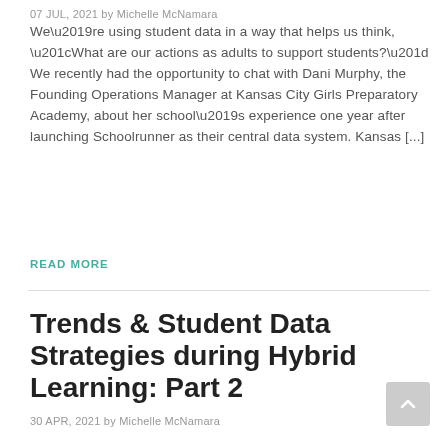07 JUL, 2021 by Michelle McNamara
We’re using student data in a way that helps us think, “What are our actions as adults to support students?” We recently had the opportunity to chat with Dani Murphy, the Founding Operations Manager at Kansas City Girls Preparatory Academy, about her school’s experience one year after launching Schoolrunner as their central data system. Kansas [...]
READ MORE
Trends & Student Data Strategies during Hybrid Learning: Part 2
30 APR, 2021 by Michelle McNamara